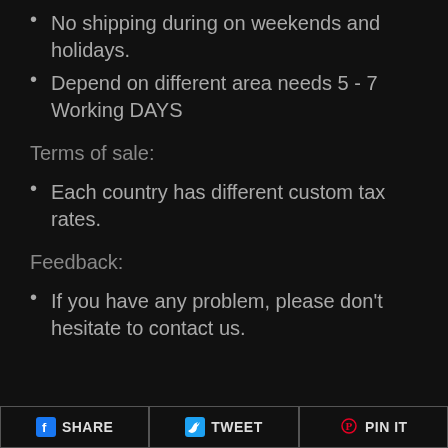No shipping during on weekends and holidays.
Depend on different area needs 5 - 7 Working DAYS
Terms of sale:
Each country has different custom tax rates.
Feedback:
If you have any problem, please don't hesitate to contact us.
SHARE  TWEET  PIN IT